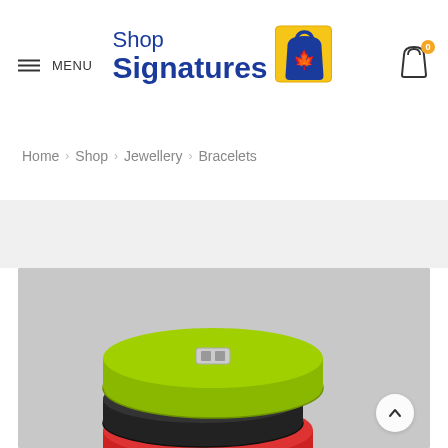MENU | Shop Signatures | 0
Home > Shop > Jewellery > Bracelets
[Figure (photo): Product photo of colorful rubber/silicone bracelets (yellow-green, black, red) with metal clasps on a light gray background]